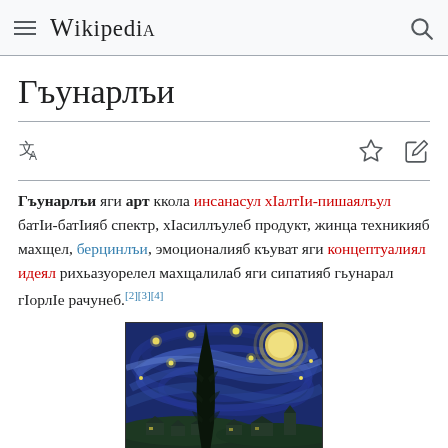Wikipedia
Гъунарлъи
Гъунарлъи яги арт ккола инсанасул хIалтIи-пишаялъул батIи-батIияб спектр, хIасиллъулеб продукт, жинца техникияб махщел, берцинлъи, эмоционалияб къуват яги концептуалиял идеял рихьазуорелел махщалилаб яги сипатияб гьунарал гIорлIе рачунеб.[2][3][4]
[Figure (photo): The Starry Night painting by Vincent van Gogh — swirling night sky with stars, moon, and dark cypress tree over a village]